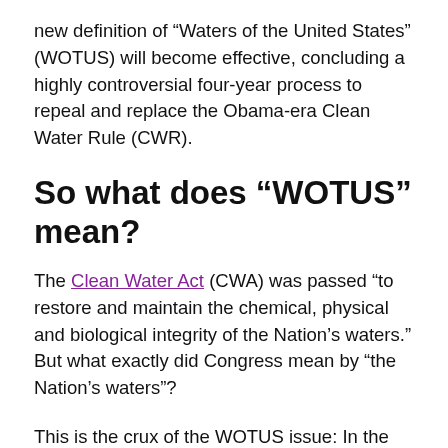new definition of “Waters of the United States” (WOTUS) will become effective, concluding a highly controversial four-year process to repeal and replace the Obama-era Clean Water Rule (CWR).
So what does “WOTUS” mean?
The Clean Water Act (CWA) was passed “to restore and maintain the chemical, physical and biological integrity of the Nation’s waters.” But what exactly did Congress mean by “the Nation’s waters”?
This is the crux of the WOTUS issue: In the